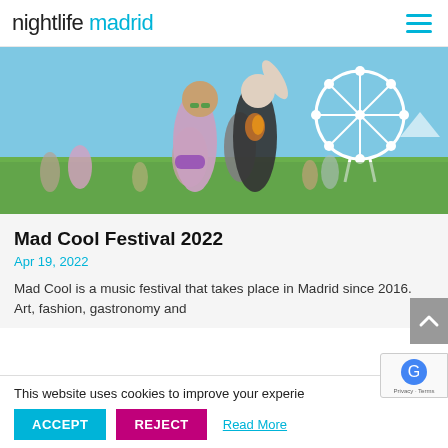nightlife madrid
[Figure (photo): Two young women at an outdoor music festival with a large Ferris wheel in the background, sunny day, crowd visible behind them.]
Mad Cool Festival 2022
Apr 19, 2022
Mad Cool is a music festival that takes place in Madrid since 2016. Art, fashion, gastronomy and
This website uses cookies to improve your experie